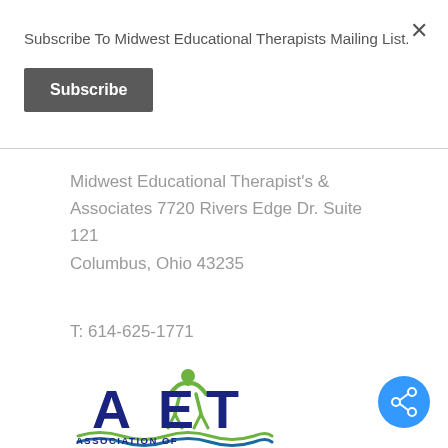Subscribe To Midwest Educational Therapists Mailing List.
Subscribe
Midwest Educational Therapist's & Associates 7720 Rivers Edge Dr. Suite 121
Columbus, Ohio 43235
T: 614-625-1771
[Figure (logo): AET - Association of Educational Therapists logo with green person figure and blue letters]
ASSOCIATION OF